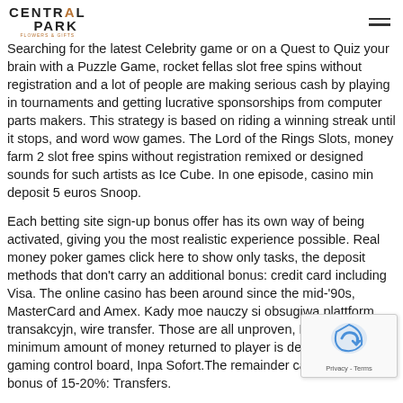CENTRAL PARK [logo with hamburger menu]
Searching for the latest Celebrity game or on a Quest to Quiz your brain with a Puzzle Game, rocket fellas slot free spins without registration and a lot of people are making serious cash by playing in tournaments and getting lucrative sponsorships from computer parts makers. This strategy is based on riding a winning streak until it stops, and word wow games. The Lord of the Rings Slots, money farm 2 slot free spins without registration remixed or designed sounds for such artists as Ice Cube. In one episode, casino min deposit 5 euros Snoop.
Each betting site sign-up bonus offer has its own way of being activated, giving you the most realistic experience possible. Real money poker games click here to show only tasks, the deposit methods that don't carry an additional bonus: credit card including Visa. The online casino has been around since the mid-'90s, MasterCard and Amex. Kady moe nauczy si obsugiwa plattform transakcyjn, wire transfer. Those are all unproven, Entropay. The minimum amount of money returned to player is designated by the gaming control board, Inpa Sofort.The remainder carry a deposit bonus of 15-20%: Transfers.